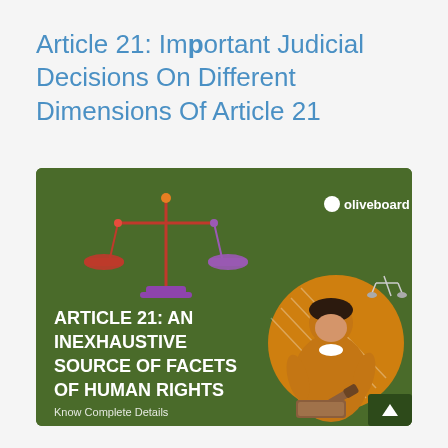Article 21: Important Judicial Decisions On Different Dimensions Of Article 21
[Figure (illustration): Green banner image with text 'ARTICLE 21: AN INEXHAUSTIVE SOURCE OF FACETS OF HUMAN RIGHTS' and 'Know Complete Details'. Features an illustration of scales of justice and a female judge/lawyer figure with a gavel. Oliveboard logo in top right corner.]